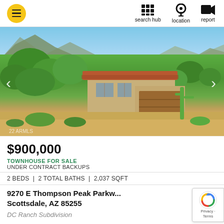search hub | location | report
[Figure (photo): Aerial/elevated exterior photo of a Mediterranean-style townhouse with terracotta tile roof, two-car garage, desert landscaping with cacti and trees, mountains in background, blue sky. Scottsdale AZ property.]
$900,000
TOWNHOUSE FOR SALE
UNDER CONTRACT BACKUPS
2 BEDS | 2 TOTAL BATHS | 2,037 SQFT
9270 E Thompson Peak Parkw...
Scottsdale, AZ 85255
DC Ranch Subdivision